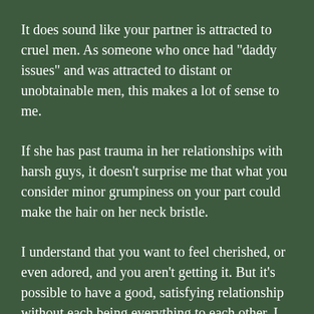It does sound like your partner is attracted to cruel men. As someone who once had "daddy issues" and was attracted to distant or unobtainable men, this makes a lot of sense to me.
If she has past trauma in her relationships with harsh guys, it doesn't surprise me that what you consider minor grumpiness on your part could make the hair on her neck bristle.
I understand that you want to feel cherished, or even adored, and you aren't getting it. But it's possible to have a good, satisfying relationship without each being everything to each other. I think it could be feasible for you to get your tech-related or career-related discussion needs met by a friend.
It sounds like she was defensive when you brought up your